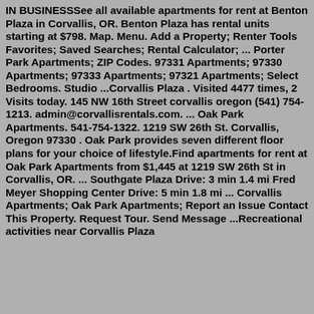IN BUSINESSSee all available apartments for rent at Benton Plaza in Corvallis, OR. Benton Plaza has rental units starting at $798. Map. Menu. Add a Property; Renter Tools Favorites; Saved Searches; Rental Calculator; ... Porter Park Apartments; ZIP Codes. 97331 Apartments; 97330 Apartments; 97333 Apartments; 97321 Apartments; Select Bedrooms. Studio ...Corvallis Plaza . Visited 4477 times, 2 Visits today. 145 NW 16th Street corvallis oregon (541) 754-1213. admin@corvallisrentals.com. ... Oak Park Apartments. 541-754-1322. 1219 SW 26th St. Corvallis, Oregon 97330 . Oak Park provides seven different floor plans for your choice of lifestyle.Find apartments for rent at Oak Park Apartments from $1,445 at 1219 SW 26th St in Corvallis, OR. ... Southgate Plaza Drive: 3 min 1.4 mi Fred Meyer Shopping Center Drive: 5 min 1.8 mi ... Corvallis Apartments; Oak Park Apartments; Report an Issue Contact This Property. Request Tour. Send Message ...Recreational activities near Corvallis Plaza